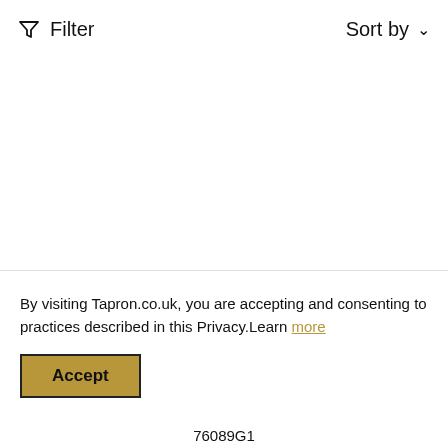Filter   Sort by
By visiting Tapron.co.uk, you are accepting and consenting to practices described in this Privacy.Learn more
Accept
TOP
76089G1